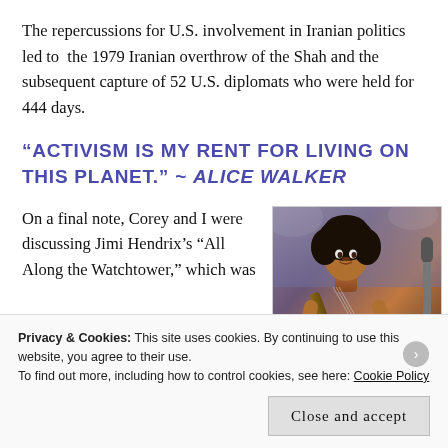The repercussions for U.S. involvement in Iranian politics led to  the 1979 Iranian overthrow of the Shah and the subsequent capture of 52 U.S. diplomats who were held for 444 days.
“ACTIVISM IS MY RENT FOR LIVING ON THIS PLANET.” ~ ALICE WALKER
On a final note, Corey and I were discussing Jimi Hendrix’s “All Along the Watchtower,” which was
[Figure (photo): Photo of Jimi Hendrix playing guitar on stage, colorized, with a microphone visible on the right]
Privacy & Cookies: This site uses cookies. By continuing to use this website, you agree to their use.
To find out more, including how to control cookies, see here: Cookie Policy